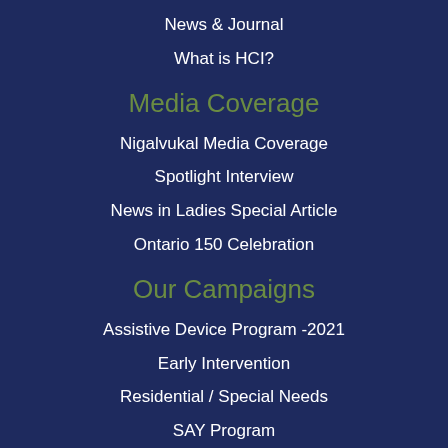News & Journal
What is HCI?
Media Coverage
Nigalvukal Media Coverage
Spotlight Interview
News in Ladies Special Article
Ontario 150 Celebration
Our Campaigns
Assistive Device Program -2021
Early Intervention
Residential / Special Needs
SAY Program
Support OT/PT/SLP Volunteers